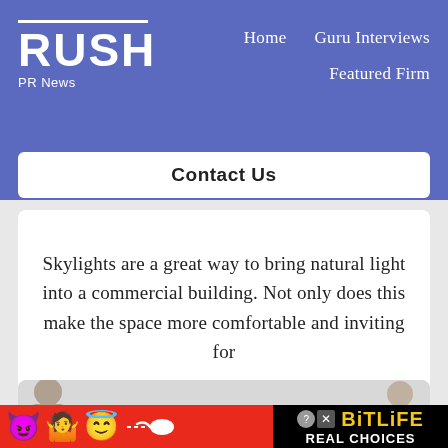RUSH PR News — Home | Guru Interviews | Featured Firm | Contact Us
Skylights are a great way to bring natural light into a commercial building. Not only does this make the space more comfortable and inviting for
[Figure (photo): Partial image of people with a Health category badge overlay]
[Figure (infographic): BitLife advertisement banner with emojis on a red background. Shows devil emoji, person emoji, angel emoji, sperm graphic, BitLife logo in yellow on black, and text REAL CHOICES.]